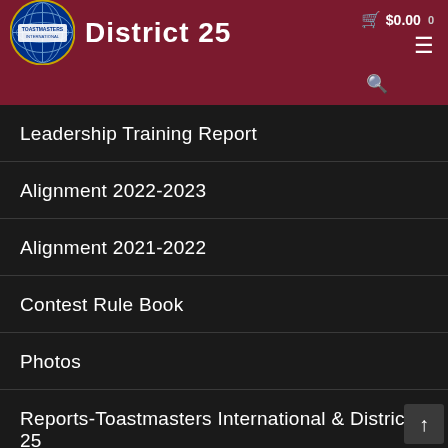Toastmasters International District 25
Leadership Training Report
Alignment 2022-2023
Alignment 2021-2022
Contest Rule Book
Photos
Reports-Toastmasters International & District 25
Hall of Fame
Incentives 2022-2023